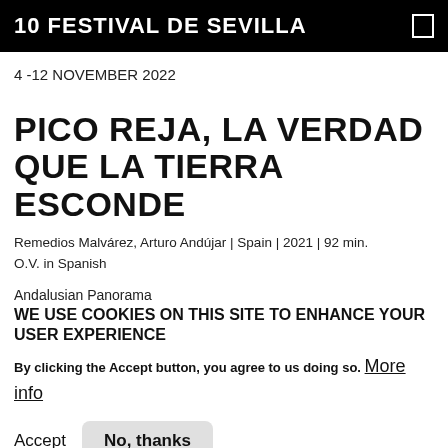10 FESTIVAL DE SEVILLA
4 -12 NOVEMBER 2022
PICO REJA, LA VERDAD QUE LA TIERRA ESCONDE
Remedios Malvárez, Arturo Andújar | Spain | 2021 | 92 min.
O.V. in Spanish
Andalusian Panorama
WE USE COOKIES ON THIS SITE TO ENHANCE YOUR USER EXPERIENCE
By clicking the Accept button, you agree to us doing so. More info
Accept   No, thanks